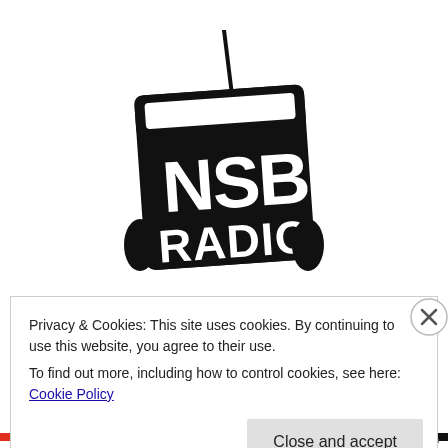[Figure (logo): NSB Radio logo: a stylized portable radio illustration in black with white lettering showing 'NSB' in large bold text and 'RADIO' below it, with an antenna on top]
Privacy & Cookies: This site uses cookies. By continuing to use this website, you agree to their use.
To find out more, including how to control cookies, see here: Cookie Policy
Close and accept